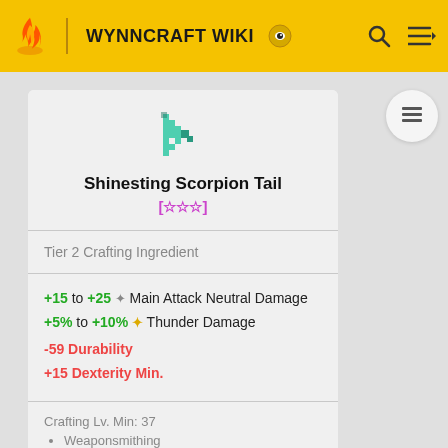WYNNCRAFT WIKI
Shinesting Scorpion Tail
[☆☆☆]
Tier 2 Crafting Ingredient
+15 to +25 ❖ Main Attack Neutral Damage
+5% to +10% ✦ Thunder Damage
-59 Durability
+15 Dexterity Min.
Crafting Lv. Min: 37
Weaponsmithing
Woodworking
more info...